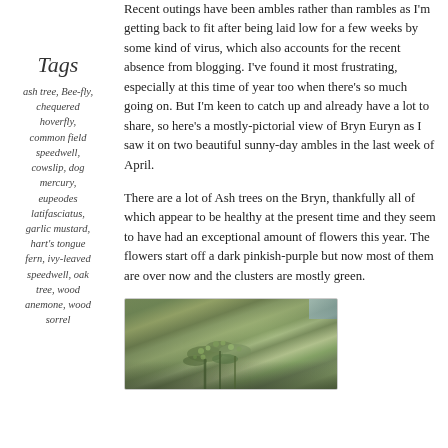Recent outings have been ambles rather than rambles as I'm getting back to fit after being laid low for a few weeks by some kind of virus, which also accounts for the recent absence from blogging. I've found it most frustrating, especially at this time of year too when there's so much going on. But I'm keen to catch up and already have a lot to share, so here's a mostly-pictorial view of Bryn Euryn as I saw it on two beautiful sunny-day ambles in the last week of April.
Tags
ash tree, Bee-fly, chequered hoverfly, common field speedwell, cowslip, dog mercury, eupeodes latifasciatus, garlic mustard, hart's tongue fern, ivy-leaved speedwell, oak tree, wood anemone, wood sorrel
There are a lot of Ash trees on the Bryn, thankfully all of which appear to be healthy at the present time and they seem to have had an exceptional amount of flowers this year. The flowers start off a dark pinkish-purple but now most of them are over now and the clusters are mostly green.
[Figure (photo): Close-up macro photograph of green plant/flower clusters, likely ash tree flowers, with blurred bokeh background in green and blue tones]